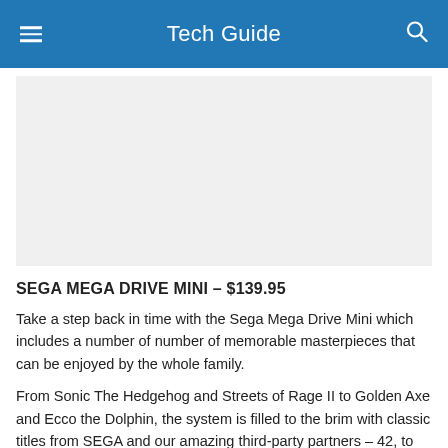Tech Guide
[Figure (other): Gray placeholder image area for Sega Mega Drive Mini product image]
SEGA MEGA DRIVE MINI – $139.95
Take a step back in time with the Sega Mega Drive Mini which includes a number of number of memorable masterpieces that can be enjoyed by the whole family.
From Sonic The Hedgehog and Streets of Rage II to Golden Axe and Ecco the Dolphin, the system is filled to the brim with classic titles from SEGA and our amazing third-party partners – 42, to be exact. That includes two bonus titles never previously released on the Mega Drive – Tetris and Darius.